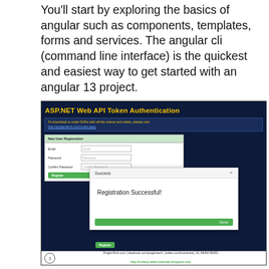You'll start by exploring the basics of angular such as components, templates, forms and services. The angular cli (command line interface) is the quickest and easiest way to get started with an angular 13 project.
[Figure (screenshot): Screenshot of a video tutorial titled 'ASP.NET Web API Token Authentication' showing a New User Registration form with Email, Password, Confirm Password fields and a Register button, along with a modal dialog displaying 'Registration Successful!' with a Close button. Footer shows PragimTech branding and link to http://csharp-video-tutorials.blogspot.com]